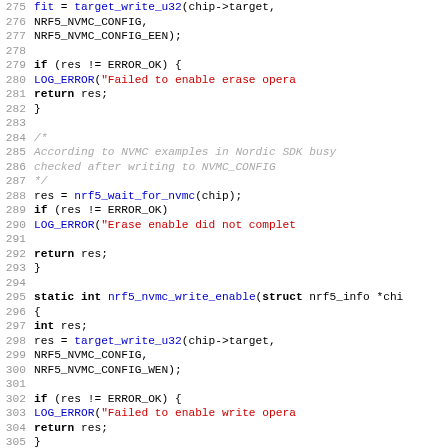[Figure (screenshot): Source code viewer showing C code lines 275-307 for nrf5 NVMC erase/write enable functions with syntax highlighting: line numbers in grey, keywords in bold black, function names in blue, string literals in red, comments in grey italic.]